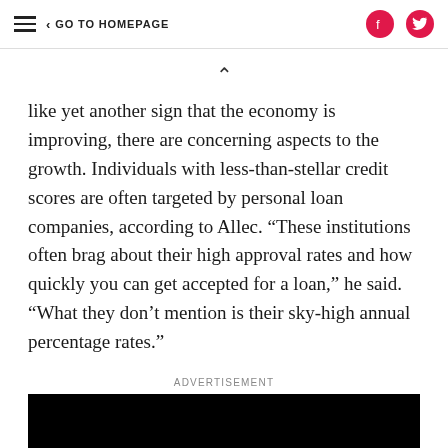≡  < GO TO HOMEPAGE
like yet another sign that the economy is improving, there are concerning aspects to the growth. Individuals with less-than-stellar credit scores are often targeted by personal loan companies, according to Allec. “These institutions often brag about their high approval rates and how quickly you can get accepted for a loan,” he said. “What they don’t mention is their sky-high annual percentage rates.”
ADVERTISEMENT